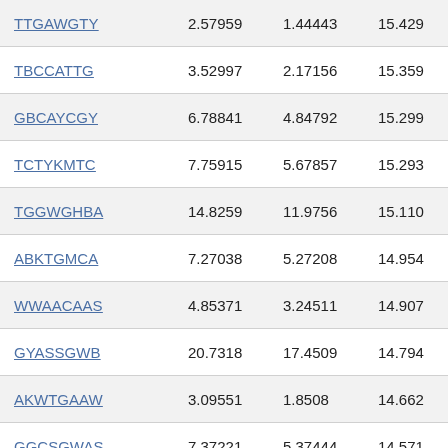|  |  |  |  |
| --- | --- | --- | --- |
| TTGAWGTY | 2.57959 | 1.44443 | 15.429 |
| TBCCATTG | 3.52997 | 2.17156 | 15.359 |
| GBCAYCGY | 6.78841 | 4.84792 | 15.299 |
| TCTYKMTC | 7.75915 | 5.67857 | 15.293 |
| TGGWGHBA | 14.8259 | 11.9756 | 15.110 |
| ABKTGMCA | 7.27038 | 5.27208 | 14.954 |
| WWAACAAS | 4.85371 | 3.24511 | 14.907 |
| GYASSGWB | 20.7318 | 17.4509 | 14.794 |
| AKWTGAAW | 3.09551 | 1.8508 | 14.662 |
| GGCSGWAS | 7.37221 | 5.37444 | 14.571 |
| TACRSTTC | 1.76499 | 0.876825 | 14.332 |
| ASDCAHAG | 12.2191 | 9.65935 | 14.303 |
| TCAVAGTY | 5.12525 | 3.48796 | 14.281 |